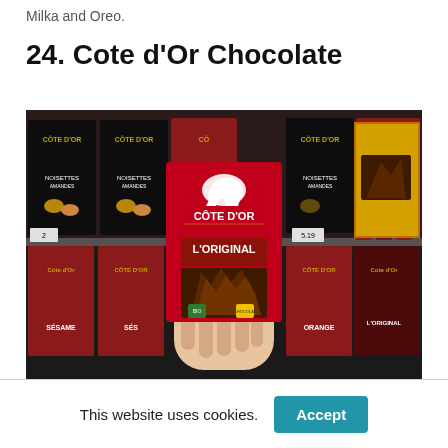Milka and Oreo.
24. Cote d'Or Chocolate
[Figure (photo): A hand holding a red Côte d'Or L'Original chocolate bar in front of a store shelf stocked with various Côte d'Or chocolate products including Noisettes, Amandes, Sésame, Orange, and other flavors. Price tags visible on the shelf.]
This website uses cookies.
Accept